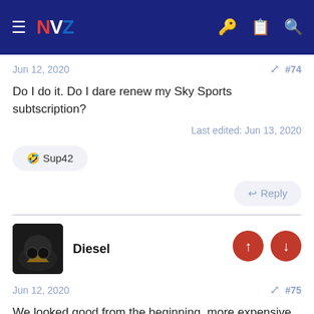NZ (navigation bar with hamburger menu, logo, key, clipboard, and search icons)
Jun 12, 2020  #74
Do I do it. Do I dare renew my Sky Sports subtscription?
Last edited: Jun 13, 2020
🤣 Sup42
Reply
Diesel
Jun 12, 2020  #75
We looked good from the beginning, more expensive play. Great win
Reply